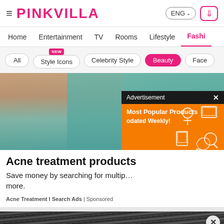PINKVILLA — ENG
Home  Entertainment  TV  Rooms  Lifestyle  Fashi
All  Style Icons (NEW)  Celebrity Style  Beauty  Face
[Figure (photo): Hero image: woman in teal top, close-up, with advertisement overlay showing 'Most Popular Products Updated Weekly!' on orange background]
Acne treatment products
Save money by searching for multip... more.
Acne Treatment I Search Ads | Sponsored
[Figure (screenshot): Second article preview: dark hair close-up image with X close button, and BitLife banner ad at bottom showing 'Murder Do it!']